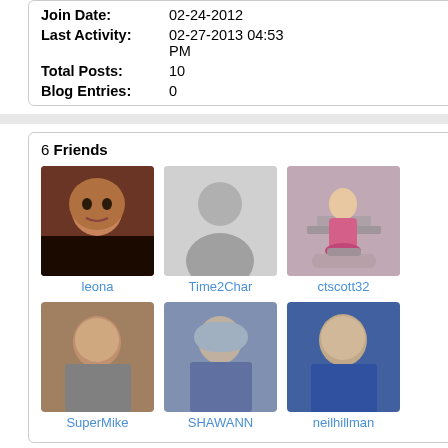Join Date: 02-24-2012
Last Activity: 02-27-2013 04:53 PM
Total Posts: 10
Blog Entries: 0
6 Friends
More
[Figure (photo): Friend profile photo: leona]
leona
[Figure (photo): Friend profile photo: Time2Char (placeholder silhouette)]
Time2Char
[Figure (photo): Friend profile photo: ctscott32 (cartoon figure at scale)]
ctscott32
[Figure (photo): Friend profile photo: SuperMike]
SuperMike
[Figure (photo): Friend profile photo: SHAWANN]
SHAWANN
[Figure (photo): Friend profile photo: neilhillman]
neilhillman
1 Groups
[Figure (photo): Group logo for Dr. Mario Almanza's Patients]
Dr. Mario Almanza's Patients
Men Marriage Happiness,
Occupation:
Secretary
Name:
Jackie M
Gastric Sleeve Surgeon
Almanza
Surgery date:
2012-03-28
Signature
Hello Everyone, all like Ourselves, Jesus, we got it! we Get R Done, timid. We can g eating, watching, Gastric Sleeve t
GastricSleeve.com Member